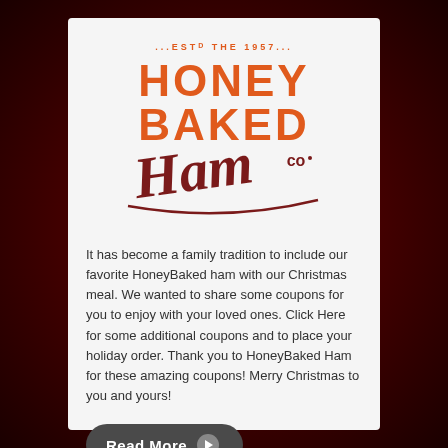[Figure (logo): The Honey Baked Ham Co. logo with orange block letters and dark red script 'Ham' with 'Co' superscript. Text reads: ...ESTD THE 1957... HONEY BAKED Ham Co]
It has become a family tradition to include our favorite HoneyBaked ham with our Christmas meal. We wanted to share some coupons for you to enjoy with your loved ones. Click Here for some additional coupons and to place your holiday order. Thank you to HoneyBaked Ham for these amazing coupons! Merry Christmas to you and yours!
Read More ▶